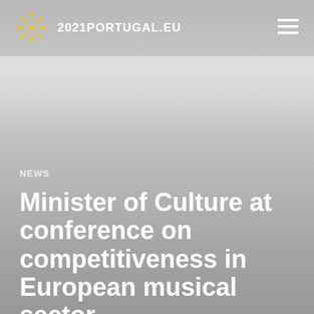2021PORTUGAL.EU
NEWS
Minister of Culture at conference on competitiveness in European musical sector
04 Mar · 13h00